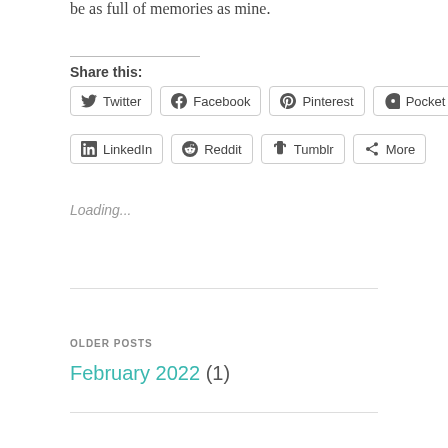be as full of memories as mine.
Share this:
Twitter  Facebook  Pinterest  Pocket  LinkedIn  Reddit  Tumblr  More
Loading...
OLDER POSTS
February 2022 (1)